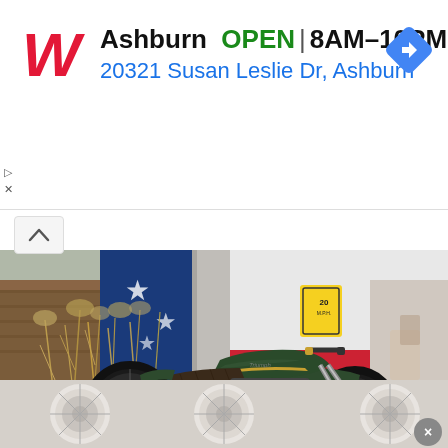[Figure (screenshot): Walgreens advertisement banner showing store location in Ashburn with OPEN status, hours 8AM-10PM, and address 20321 Susan Leslie Dr, Ashburn, with Walgreens logo and navigation arrow icon]
[Figure (photo): Photograph of a custom cafe racer style motorcycle (appears to be a Triumph) parked in front of a building with a Texas flag mural. The motorcycle is dark green/black with chrome exhaust pipes and classic styling. Background shows dry grass plants and a 20 MPH speed sign.]
[Figure (photo): Bottom strip showing partial views of motorcycle wheels, with a close/dismiss button on the right side]